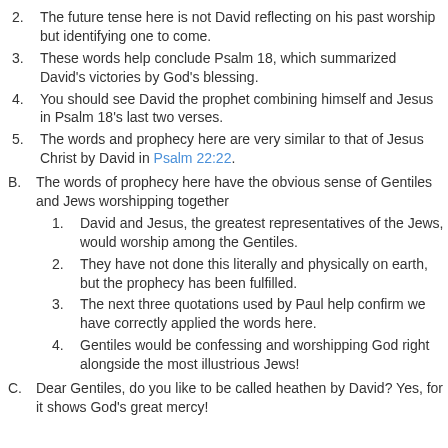2. The future tense here is not David reflecting on his past worship but identifying one to come.
3. These words help conclude Psalm 18, which summarized David's victories by God's blessing.
4. You should see David the prophet combining himself and Jesus in Psalm 18's last two verses.
5. The words and prophecy here are very similar to that of Jesus Christ by David in Psalm 22:22.
B. The words of prophecy here have the obvious sense of Gentiles and Jews worshipping together
1. David and Jesus, the greatest representatives of the Jews, would worship among the Gentiles.
2. They have not done this literally and physically on earth, but the prophecy has been fulfilled.
3. The next three quotations used by Paul help confirm we have correctly applied the words here.
4. Gentiles would be confessing and worshipping God right alongside the most illustrious Jews!
C. Dear Gentiles, do you like to be called heathen by David? Yes, for it shows God's great mercy!